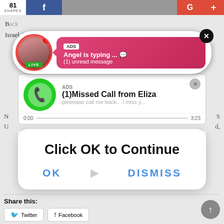[Figure (screenshot): Website page with social share bar at top showing 81 shares, Facebook, Google+ buttons]
[Figure (screenshot): Ad notification popup showing 'ADS - Angel is typing... (1) unread message' with avatar, LIVE badge, close button]
Israel, Poland, Japan, Canada, Austria, Australia, Kuwait,
[Figure (screenshot): Ad popup showing '(1)Missed Call from Eliza' with green phone icon and audio player]
[Figure (screenshot): Modal overlay with text 'Click OK to Continue' and OK / DISMISS buttons]
Share this:
Twitter
Facebook
Like this:
Like
Be the first to like this.